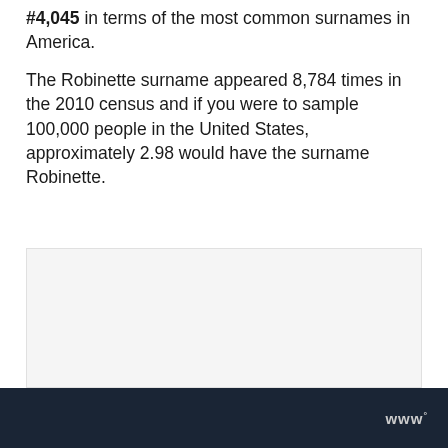#4,045 in terms of the most common surnames in America.
The Robinette surname appeared 8,784 times in the 2010 census and if you were to sample 100,000 people in the United States, approximately 2.98 would have the surname Robinette.
[Figure (other): Advertisement placeholder box with light gray background]
www°